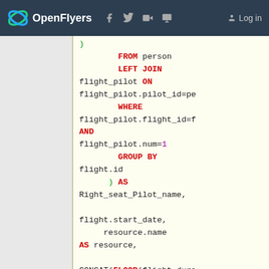OpenFlyers | Log in
[Figure (screenshot): SQL code snippet showing a query with FROM person, LEFT JOIN flight_pilot ON flight_pilot.pilot_id=pe, WHERE flight_pilot.flight_id=f, AND flight_pilot.num=1, GROUP BY flight.id AS Right_seat_Pilot_name, flight.start_date, resource.name AS resource, CONCAT(FLOOR(flight.dura/600 - FLOOR(flight.duration/60 AS flight_duration, SELECT GROUP_CONCAT(flight_type.name SEPARATOR ',')]